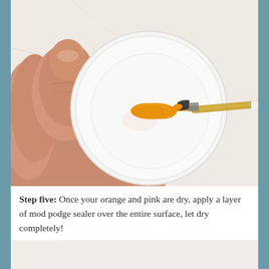[Figure (photo): A hand holding a small white circular ceramic dish/coaster. An orange paint blob is being applied to the white surface by a paintbrush with a gold and dark metallic handle. The background is white/light marble.]
Step five: Once your orange and pink are dry, apply a layer of mod podge sealer over the entire surface, let dry completely!
[Figure (photo): Partial view of another step photo, mostly white/light background, bottom of page.]